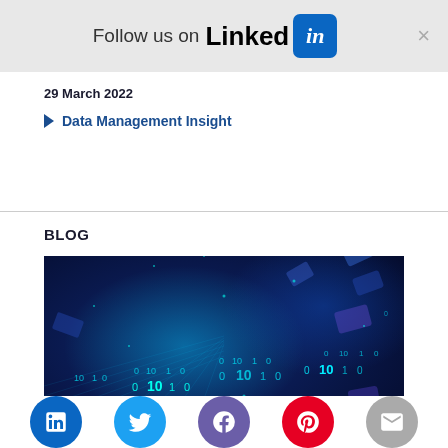Follow us on LinkedIn
29 March 2022
Data Management Insight
BLOG
[Figure (photo): Digital data concept image with blue background showing binary numbers 0, 1, 10 floating in a glowing cyan/blue digital tunnel or matrix environment with geometric shapes]
Social share buttons: LinkedIn, Twitter, Facebook, Pinterest, Email